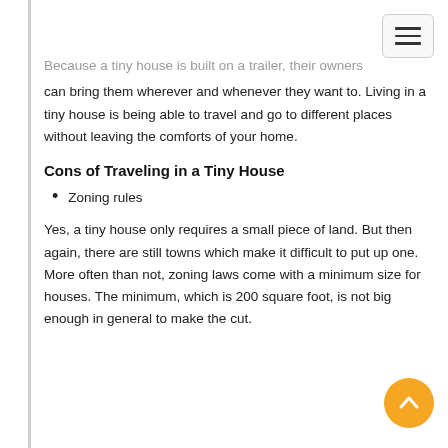Because a tiny house is built on a trailer, their owners can bring them wherever and whenever they want to. Living in a tiny house is being able to travel and go to different places without leaving the comforts of your home.
Cons of Traveling in a Tiny House
Zoning rules
Yes, a tiny house only requires a small piece of land. But then again, there are still towns which make it difficult to put up one. More often than not, zoning laws come with a minimum size for houses. The minimum, which is 200 square foot, is not big enough in general to make the cut.